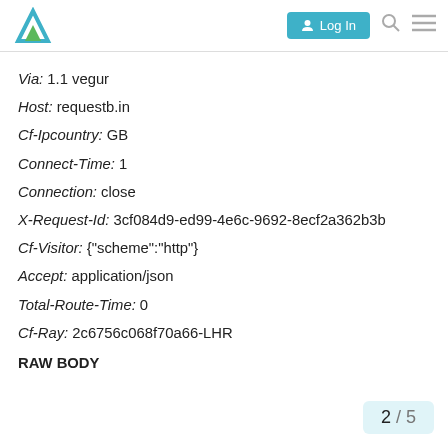Log In
Via: 1.1 vegur
Host: requestb.in
Cf-Ipcountry: GB
Connect-Time: 1
Connection: close
X-Request-Id: 3cf084d9-ed99-4e6c-9692-8ecf2a362b3b
Cf-Visitor: {"scheme":"http"}
Accept: application/json
Total-Route-Time: 0
Cf-Ray: 2c6756c068f70a66-LHR
RAW BODY
2 / 5